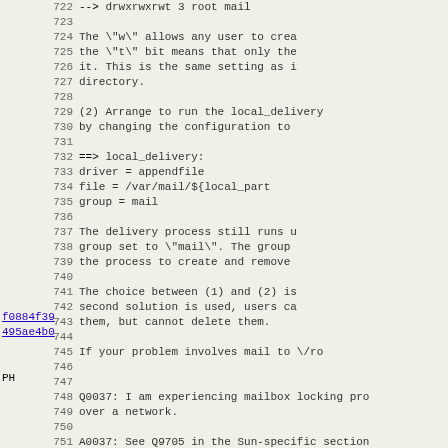Lines 722-754 of a technical document about mail delivery configuration and mailbox locking
722 --> drwxrwxrwt 3 root mail
723
724 The \"w\" allows any user to crea
725 the \"t\" bit means that only the
726 it. This is the same setting as i
727 directory.
728
729 (2) Arrange to run the local_delivery
730 by changing the configuration to
731
732 ==> local_delivery:
733 driver = appendfile
734 file = /var/mail/${local_part
735 group = mail
736
737 The delivery process still runs u
738 group set to \"mail\". The group
739 the process to create and remove
740
741 The choice between (1) and (2) is
742 second solution is used, users ca
743 them, but cannot delete them.
744
745 If your problem involves mail to \/ro
746
747
748 Q0037: I am experiencing mailbox locking pro
749 over a network.
750
751 A0037: See Q9705 in the Sun-specific section
752
753
754 Q0039: What does the error message \"terror